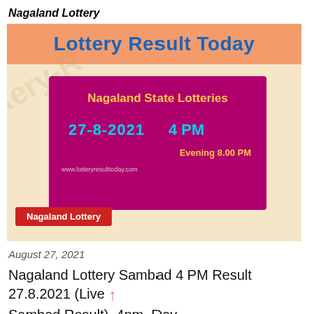Nagaland Lottery
[Figure (infographic): Lottery Result Today banner with Nagaland State Lotteries magenta card showing date 27-8-2021 4 PM and Evening 8.00 PM, with watermark text and red Nagaland Lottery tag]
August 27, 2021
Nagaland Lottery Sambad 4 PM Result 27.8.2021 (Live Sambad Result), 4pm, Day